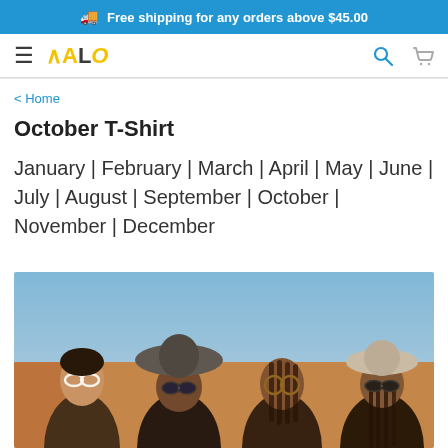🚚 Free shipping for any orders above $45.00
[Figure (logo): ALO brand logo with hamburger menu, search icon and cart icon in navigation bar]
< Home
October T-Shirt
January | February | March | April | May | June | July | August | September | October | November | December
[Figure (photo): Four young women wearing sunglasses and hats, posed together outdoors in warm sunlight]